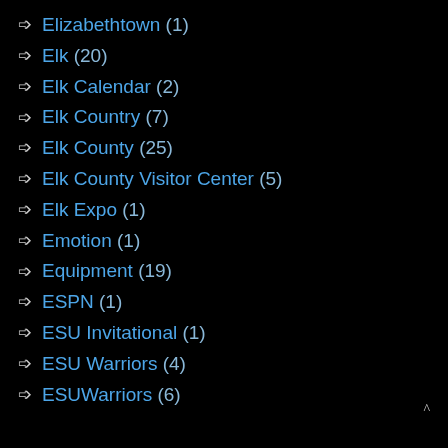Elizabethtown (1)
Elk (20)
Elk Calendar (2)
Elk Country (7)
Elk County (25)
Elk County Visitor Center (5)
Elk Expo (1)
Emotion (1)
Equipment (19)
ESPN (1)
ESU Invitational (1)
ESU Warriors (4)
ESUWarriors (6)